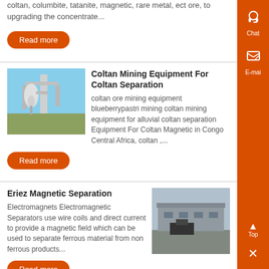coltan, columbite, tatanite, magnetic, rare metal, ect ore, to upgrading the concentrate...
Read more
Coltan Mining Equipment For Coltan Separation
[Figure (photo): Industrial mining equipment with pipes and machinery against a blue sky]
coltan ore mining equipment blueberrypastri mining coltan mining equipment for alluvial coltan separation Equipment For Coltan Magnetic in Congo Central Africa, coltan ,...
Read more
Eriez Magnetic Separation
Electromagnets Electromagnetic Separators use wire coils and direct current to provide a magnetic field which can be used to separate ferrous material from non ferrous products...
[Figure (photo): Industrial building exterior with equipment]
Read more